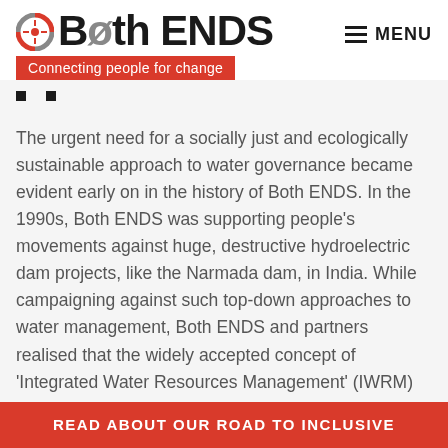[Figure (logo): Both ENDS logo with circular icon and tagline 'Connecting people for change' on red background]
The urgent need for a socially just and ecologically sustainable approach to water governance became evident early on in the history of Both ENDS. In the 1990s, Both ENDS was supporting people's movements against huge, destructive hydroelectric dam projects, like the Narmada dam, in India. While campaigning against such top-down approaches to water management, Both ENDS and partners realised that the widely accepted concept of 'Integrated Water Resources Management' (IWRM) was not delivering on its promises of inclusiveness and sustainability.
READ ABOUT OUR ROAD TO INCLUSIVE